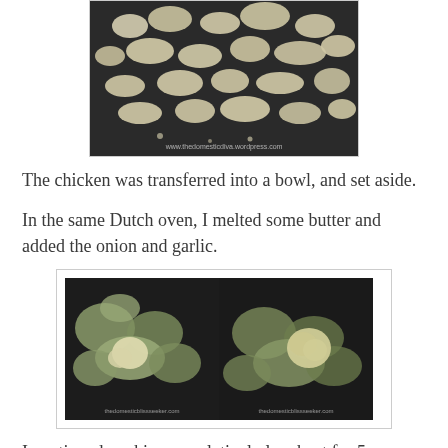[Figure (photo): Cooked chicken pieces in a pan, top-down view, bubbling oil visible]
The chicken was transferred into a bowl, and set aside.
In the same Dutch oven, I melted some butter and added the onion and garlic.
[Figure (photo): Two side-by-side photos of diced onion and garlic cooking in a Dutch oven on low heat]
I continued cooking on relatively low heat for 5 minutes or so until the onions had softened.
I added the flour, and stirred constantly for about 2 minutes